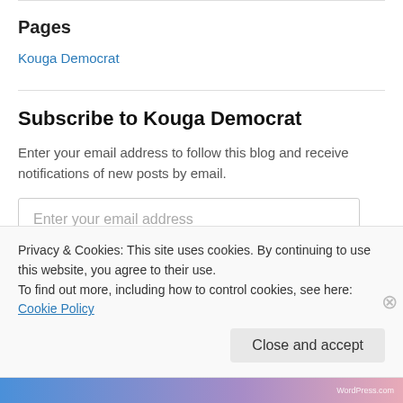Pages
Kouga Democrat
Subscribe to Kouga Democrat
Enter your email address to follow this blog and receive notifications of new posts by email.
Enter your email address
Follow
Privacy & Cookies: This site uses cookies. By continuing to use this website, you agree to their use.
To find out more, including how to control cookies, see here: Cookie Policy
Close and accept